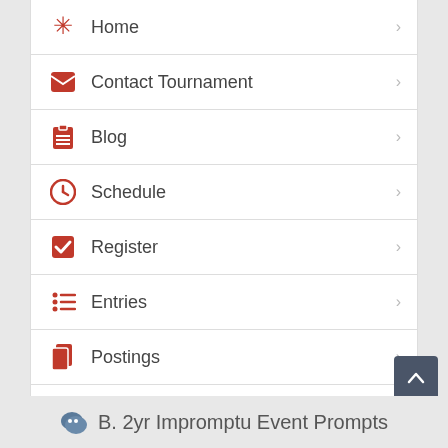Home
Contact Tournament
Blog
Schedule
Register
Entries
Postings
eBallots
Results
Live Streams
B. 2yr Impromptu Event Prompts